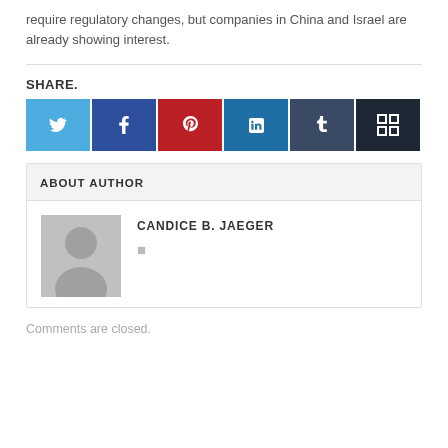require regulatory changes, but companies in China and Israel are already showing interest.
SHARE.
[Figure (infographic): Row of six social media share buttons: Twitter (light blue), Facebook (dark blue), Pinterest (red), LinkedIn (medium blue), Tumblr (dark slate blue), Share (very dark blue) each with a white icon]
ABOUT AUTHOR
[Figure (photo): Generic grey avatar placeholder showing a silhouette of a person]
CANDICE B. JAEGER
Comments are closed.